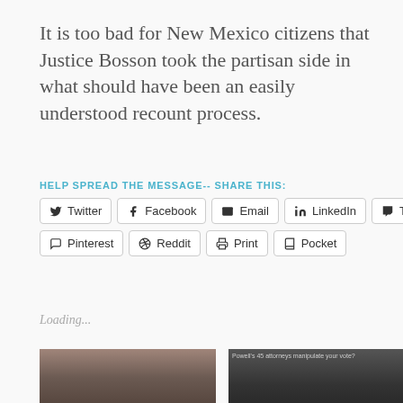It is too bad for New Mexico citizens that Justice Bosson took the partisan side in what should have been an easily understood recount process.
HELP SPREAD THE MESSAGE-- SHARE THIS:
Twitter | Facebook | Email | LinkedIn | Tumblr | Pinterest | Reddit | Print | Pocket
Loading...
[Figure (photo): Left image: close-up photo of a person examining something with a magnifying glass]
[Figure (photo): Right image: dark image of a person with silhouetted figures behind, with text overlay]